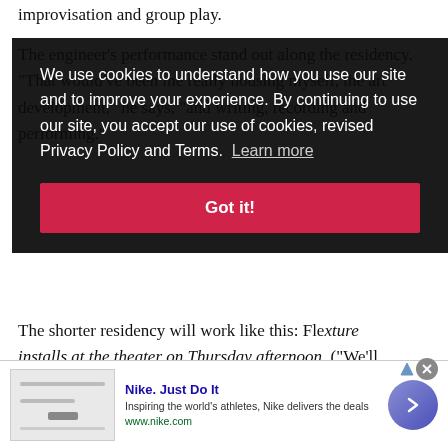improvisation and group play.
The engineer's performance stand out along the residency. "That would've been me really housing myself, the art development," he says, "and writing, recording and performing."
[Figure (screenshot): Cookie consent overlay with dark background reading: 'We use cookies to understand how you use our site and to improve your experience. By continuing to use our site, you accept our use of cookies, revised Privacy Policy and Terms. Learn more' with a red 'Got it!' button]
The shorter residency will work like this: Flecture installs at the theater on Thursday afternoon. ("We'll set up, sound check, and if we get anything recorded, that would be wonderful," Opie explains. "If we don't, we have all of Friday afternoon to record.") Saturday
[Figure (screenshot): Nike advertisement banner: 'Nike. Just Do It - Inspiring the world's athletes, Nike delivers the deals - www.nike.com' with a circular arrow button and ad thumbnail]